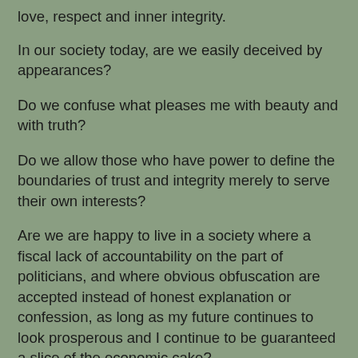love, respect and inner integrity.
In our society today, are we easily deceived by appearances?
Do we confuse what pleases me with beauty and with truth?
Do we allow those who have power to define the boundaries of trust and integrity merely to serve their own interests?
Are we are happy to live in a society where a fiscal lack of accountability on the part of politicians, and where obvious obfuscation are accepted instead of honest explanation or confession, as long as my future continues to look prosperous and I continue to be guaranteed a slice of the economic cake?
But appearances often deceive. Those who appear to be ugly are not so due to any fault or sinfulness, and they are often gentle and good-at-heart. Those who appear to be beautiful may threaten our personal confidence and security. And those who appear to guarantee economic, social or